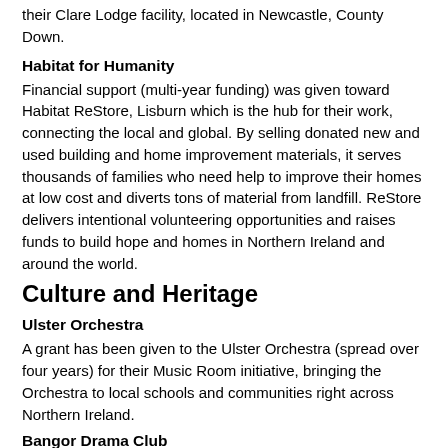their Clare Lodge facility, located in Newcastle, County Down.
Habitat for Humanity
Financial support (multi-year funding) was given toward Habitat ReStore, Lisburn which is the hub for their work, connecting the local and global. By selling donated new and used building and home improvement materials, it serves thousands of families who need help to improve their homes at low cost and diverts tons of material from landfill. ReStore delivers intentional volunteering opportunities and raises funds to build hope and homes in Northern Ireland and around the world.
Culture and Heritage
Ulster Orchestra
A grant has been given to the Ulster Orchestra (spread over four years) for their Music Room initiative, bringing the Orchestra to local schools and communities right across Northern Ireland.
Bangor Drama Club
A capital grant to purchase a building and open a Studio Theatre in Bangor, County Down.
Belfast Buildings Trust